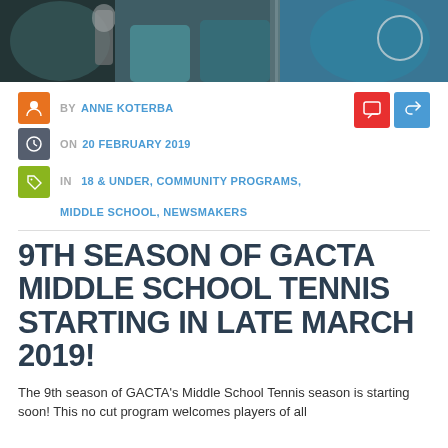[Figure (photo): Banner photo of people in teal/blue tennis shirts near a tennis net or court]
BY ANNE KOTERBA
ON 20 FEBRUARY 2019
IN 18 & UNDER, COMMUNITY PROGRAMS, MIDDLE SCHOOL, NEWSMAKERS
9TH SEASON OF GACTA MIDDLE SCHOOL TENNIS STARTING IN LATE MARCH 2019!
The 9th season of GACTA's Middle School Tennis season is starting soon! This no cut program welcomes players of all